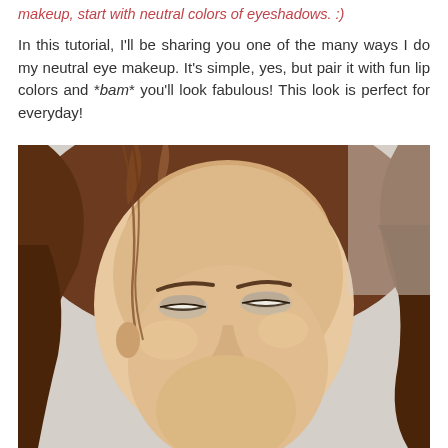makeup, start with neutral colors of eyeshadows. :)
In this tutorial, I'll be sharing you one of the many ways I do my neutral eye makeup. It's simple, yes, but pair it with fun lip colors and *bam* you'll look fabulous! This look is perfect for everyday!
[Figure (photo): Close-up photo of a young Asian woman with brown hair looking downward, wearing neutral eyeshadow makeup with subtle eyeliner.]